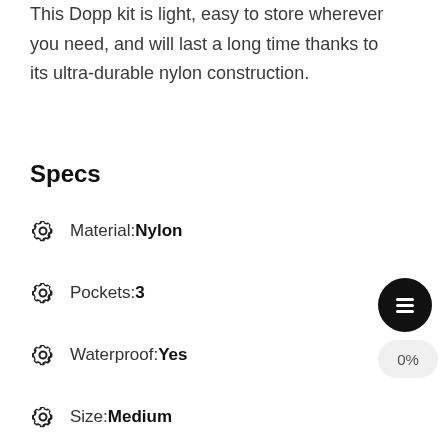This Dopp kit is light, easy to store wherever you need, and will last a long time thanks to its ultra-durable nylon construction.
Specs
Material: Nylon
Pockets: 3
Waterproof: Yes
Size: Medium
Hanging: Yes
TSA-friendly: Yes